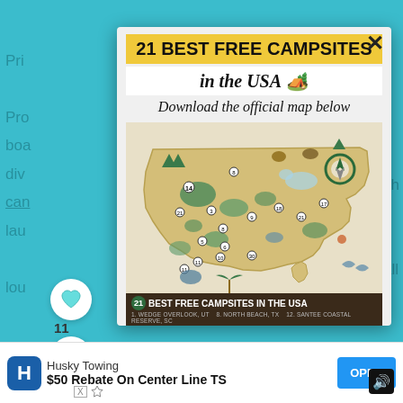21 BEST FREE CAMPSITES in the USA 🏕️
Download the official map below
[Figure (map): Map of the USA showing 21 best free campsites marked with numbered icons and illustrated camping scenes across all US states]
21 BEST FREE CAMPSITES IN THE USA
1. WEDGE OVERLOOK, UT  8. NORTH BEACH, TX  12. SANTEE COASTAL RESERVE, SC
WHAT'S NEXT → Best To Worst: Traverse Cit...
Husky Towing
$50 Rebate On Center Line TS